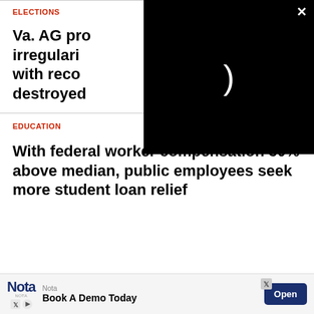ELECTIONS
Va. AG pro irregulari with reco destroyed
EDUCATION
With federal worker compensation 30% above median, public employees seek more student loan relief
[Figure (screenshot): Black video player overlay with loading spinner and close button (X)]
[Figure (screenshot): Advertisement banner for Nota app — Book A Demo Today with Open button]